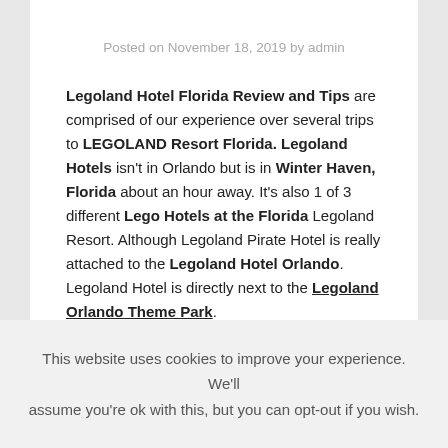Posted on November 18, 2019 by admin
Legoland Hotel Florida Review and Tips are comprised of our experience over several trips to LEGOLAND Resort Florida. Legoland Hotels isn't in Orlando but is in Winter Haven, Florida about an hour away. It's also 1 of 3 different Lego Hotels at the Florida Legoland Resort. Although Legoland Pirate Hotel is really attached to the Legoland Hotel Orlando. Legoland Hotel is directly next to the Legoland Orlando Theme Park.
This website uses cookies to improve your experience. We'll assume you're ok with this, but you can opt-out if you wish.